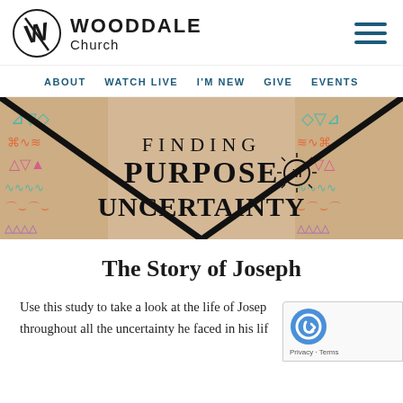WOODDALE Church
ABOUT   WATCH LIVE   I'M NEW   GIVE   EVENTS
[Figure (illustration): Banner image with tribal/ethnic patterns and text reading 'FINDING PURPOSE IN UNCERTAINTY']
The Story of Joseph
Use this study to take a look at the life of Joseph throughout all the uncertainty he faced in his life